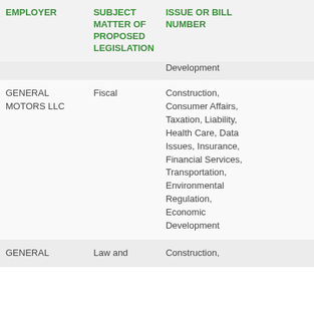| EMPLOYER | SUBJECT MATTER OF PROPOSED LEGISLATION | ISSUE OR BILL NUMBER |  |
| --- | --- | --- | --- |
|  |  | Development |  |
| GENERAL MOTORS LLC | Fiscal | Construction, Consumer Affairs, Taxation, Liability, Health Care, Data Issues, Insurance, Financial Services, Transportation, Environmental Regulation, Economic Development |  |
| GENERAL | Law and | Construction, |  |